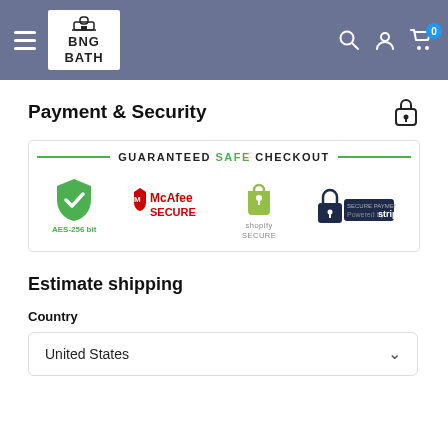BNG BATH navigation header with hamburger menu, logo, search, account, and cart icons
Payment & Security
[Figure (infographic): Guaranteed Safe Checkout banner with AES-256 bit green shield, McAfee Secure logo, Shopify Secure logo, and Stripe Secure Payments lock icon]
Estimate shipping
Country
United States